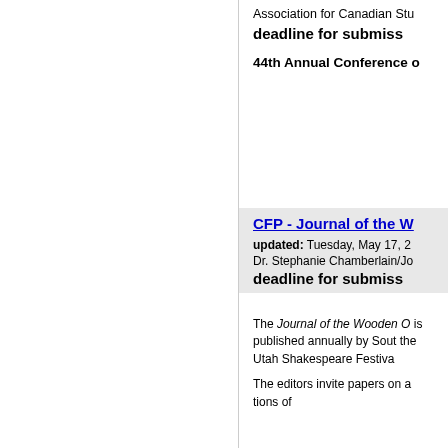Association for Canadian Stud
deadline for submiss
44th Annual Conference o
CFP - Journal of the W
updated: Tuesday, May 17, 2
Dr. Stephanie Chamberlain/Jo
deadline for submiss
The Journal of the Wooden O is published annually by Sout the Utah Shakespeare Festiva
The editors invite papers on a tions of...